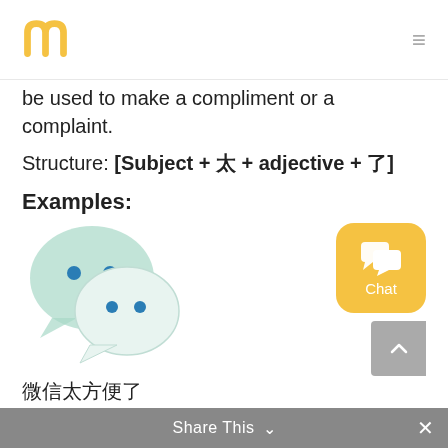[logo] [menu]
be used to make a compliment or a complaint.
Structure: [Subject + 太 + adjective + 了]
Examples:
[Figure (illustration): WeChat logo — two overlapping speech bubble faces in light teal/green]
[Figure (illustration): Chat button — yellow rounded square with white chat icon and 'Chat' label]
微信太方便了
(Wēixìn tài fāngbiàn le.)
WeChat is so convenient! (a compliment)
Share This ∨  ×